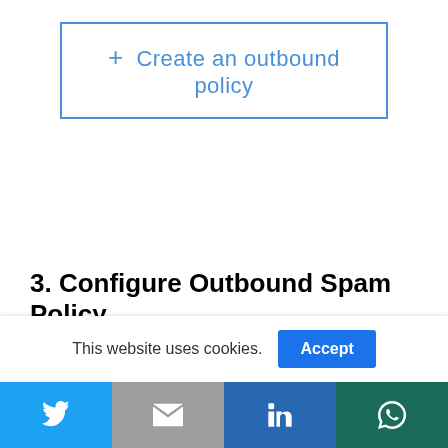[Figure (screenshot): Button with blue border and blue text '+ Create an outbound policy']
3. Configure Outbound Spam Policy
Give your new outbound spam filter policy a Name and Description. Click the down arrow next to Automatic forwarding to
This website uses cookies.
[Figure (infographic): Social share footer bar with Twitter (blue), Gmail (grey), LinkedIn (blue), WhatsApp (teal) icons]